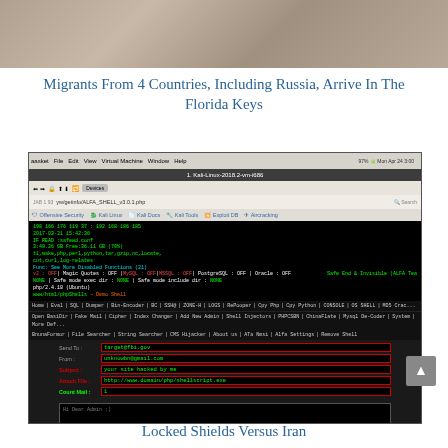[Figure (photo): Stone/gravel texture photo at top of page]
Migrants From 4 Countries, Including Russia, Arrive In The Florida Keys
[Figure (screenshot): Screenshot of a Kali Linux virtual machine running a PHP web shell interface with a mail sending form. Terminal shows server info in green text. Form fields include Send To, From, Subject, Attach File, Count Mail. A text area shows 'Hi Dear Admin :)' message.]
Locked Shields Versus Iran